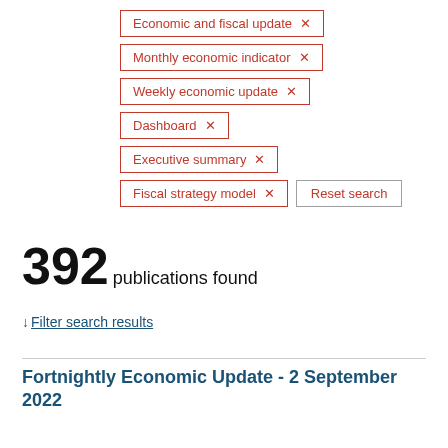Economic and fiscal update ×
Monthly economic indicator ×
Weekly economic update ×
Dashboard ×
Executive summary ×
Fiscal strategy model ×
Reset search
392 publications found
↓ Filter search results
Fortnightly Economic Update - 2 September 2022